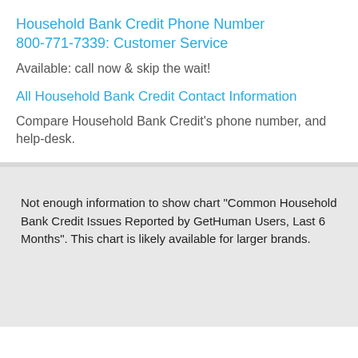Household Bank Credit Phone Number 800-771-7339: Customer Service
Available: call now & skip the wait!
All Household Bank Credit Contact Information
Compare Household Bank Credit's phone number, and help-desk.
Not enough information to show chart "Common Household Bank Credit Issues Reported by GetHuman Users, Last 6 Months". This chart is likely available for larger brands.